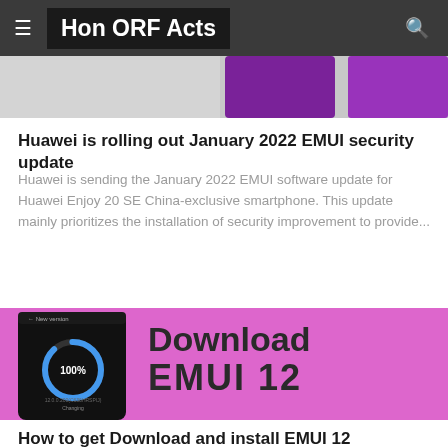Hon ORF Acts
[Figure (photo): Partial image of Huawei smartphones cut off at top, showing purple/dark device screens against gray background]
Huawei is rolling out January 2022 EMUI security update
Huawei is sending the January 2022 EMUI software update for Huawei Enjoy 20 SE China-exclusive smartphone. This update mainly prioritizes the installation of security improvement to provide...
[Figure (photo): Pink/magenta background with a phone showing 100% download progress circle and text reading 'New version', alongside bold text 'Download EMUI 12']
How to get Download and install EMUI 12
Huawei has recently started to roll out EMUI 12 for consumers.